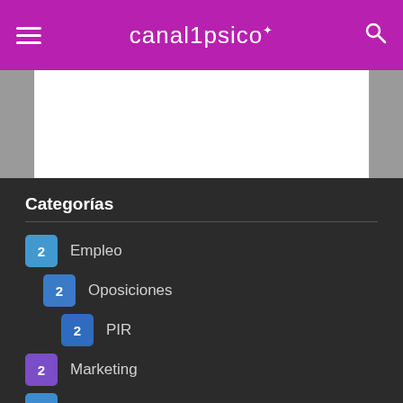canalpsico
[Figure (other): White advertisement banner area with gray side borders]
Categorías
2 Empleo
2 Oposiciones
2 PIR
2 Marketing
69 Neurociencia
8 Noticias
93 Psicología